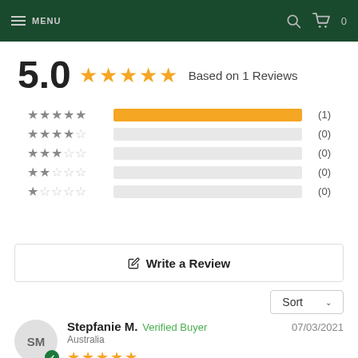MENU  [search icon]  [cart icon] 0
5.0  ★★★★★  Based on 1 Reviews
[Figure (bar-chart): Star rating distribution]
Write a Review
Sort
Stepfanie M.  Verified Buyer  07/03/2021
Australia
★★★★★